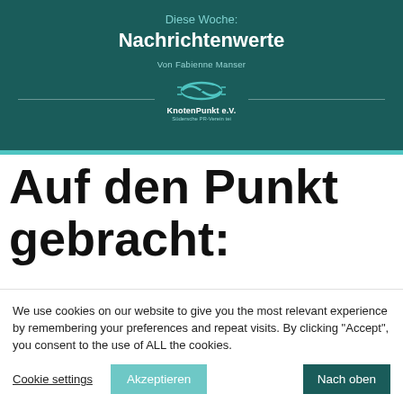[Figure (illustration): Dark teal banner with title 'Diese Woche: Nachrichtenwerte', author 'Von Fabienne Manser', and KnotenPunkt e.V. logo with decorative divider lines]
Auf den Punkt gebracht:
We use cookies on our website to give you the most relevant experience by remembering your preferences and repeat visits. By clicking “Accept”, you consent to the use of ALL the cookies.
Cookie settings | Akzeptieren | Nach oben